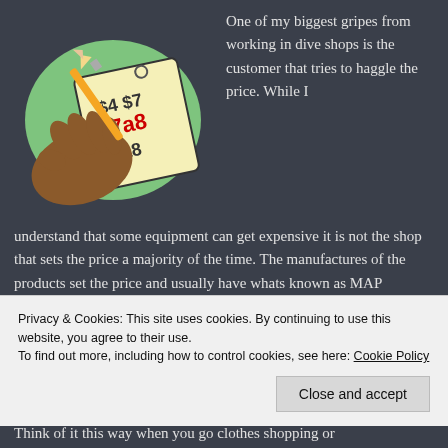[Figure (illustration): Illustration of a hand holding a pencil writing prices on a notepad tag, with numbers like $4, $7, $8 and red numbers, on a green oval background]
One of my biggest gripes from working in dive shops is the customer that tries to haggle the price. While I understand that some equipment can get expensive it is not the shop that sets the price a majority of the time. The manufactures of the products set the price and usually have whats known as MAP (minimum advertised price) for their products. This is the lowest we can
Privacy & Cookies: This site uses cookies. By continuing to use this website, you agree to their use.
To find out more, including how to control cookies, see here: Cookie Policy
Close and accept
Think of it this way when you go clothes shopping or